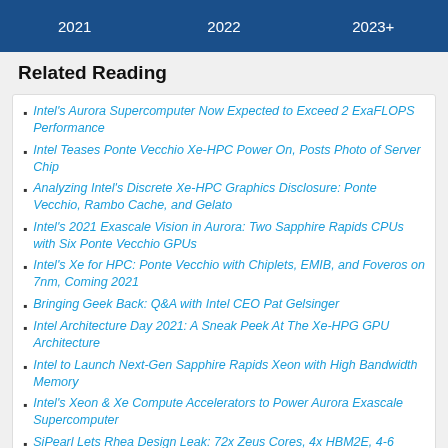[Figure (infographic): Blue timeline bar showing years 2021, 2022, 2023+ at the top of the page]
Related Reading
Intel's Aurora Supercomputer Now Expected to Exceed 2 ExaFLOPS Performance
Intel Teases Ponte Vecchio Xe-HPC Power On, Posts Photo of Server Chip
Analyzing Intel's Discrete Xe-HPC Graphics Disclosure: Ponte Vecchio, Rambo Cache, and Gelato
Intel's 2021 Exascale Vision in Aurora: Two Sapphire Rapids CPUs with Six Ponte Vecchio GPUs
Intel's Xe for HPC: Ponte Vecchio with Chiplets, EMIB, and Foveros on 7nm, Coming 2021
Bringing Geek Back: Q&A with Intel CEO Pat Gelsinger
Intel Architecture Day 2021: A Sneak Peek At The Xe-HPG GPU Architecture
Intel to Launch Next-Gen Sapphire Rapids Xeon with High Bandwidth Memory
Intel's Xeon & Xe Compute Accelerators to Power Aurora Exascale Supercomputer
SiPearl Lets Rhea Design Leak: 72x Zeus Cores, 4x HBM2E, 4-6 DDR5